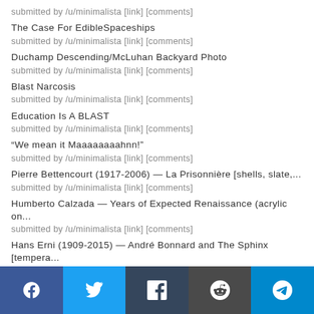submitted by /u/minimalista [link] [comments]
The Case For EdibleSpaceships
submitted by /u/minimalista [link] [comments]
Duchamp Descending/McLuhan Backyard Photo
submitted by /u/minimalista [link] [comments]
Blast Narcosis
submitted by /u/minimalista [link] [comments]
Education Is A BLAST
submitted by /u/minimalista [link] [comments]
“We mean it Maaaaaaaahnn!”
submitted by /u/minimalista [link] [comments]
Pierre Bettencourt (1917-2006) — La Prisonnière [shells, slate,...
submitted by /u/minimalista [link] [comments]
Humberto Calzada — Years of Expected Renaissance (acrylic on...
submitted by /u/minimalista [link] [comments]
Hans Erni (1909-2015) — André Bonnard and The Sphinx [tempera...
submitted by /u/minimalista [link] [comments]
Agata Kus — Mother (oil on canvas, 2012)
submitted by /u/minimalista [link] [comments]